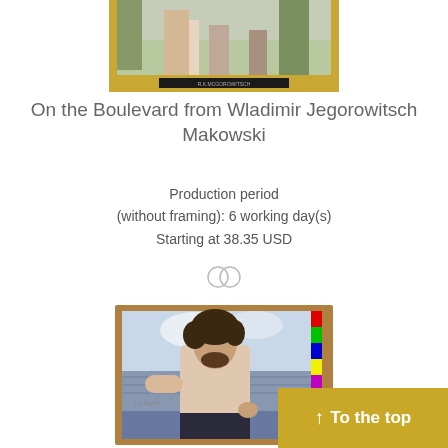[Figure (photo): Painting shown in a gold frame, partially visible at top — figures in a park/boulevard scene, cropped at bottom of frame]
On the Boulevard from Wladimir Jegorowitsch Makowski
Production period (without framing): 6 working day(s)
Starting at 38.35 USD
[Figure (illustration): Two overlapping rings / infinity-style icon in light gray]
[Figure (photo): Painting of a shirtless man with curly dark hair, standing with hand on hip, ocean/sea in background, shown in a wooden frame with color calibration strip on right edge]
↑ To the top